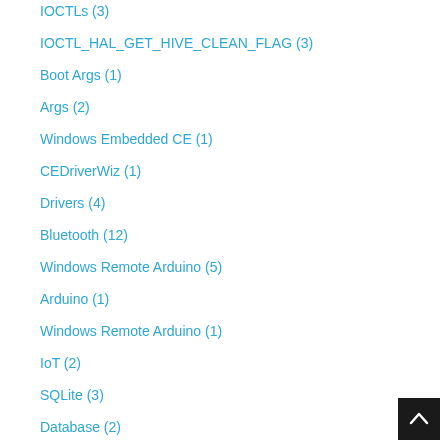IOCTLs (3)
IOCTL_HAL_GET_HIVE_CLEAN_FLAG (3)
Boot Args (1)
Args (2)
Windows Embedded CE (1)
CEDriverWiz (1)
Drivers (4)
Bluetooth (12)
Windows Remote Arduino (5)
Arduino (1)
Windows Remote Arduino (1)
IoT (2)
SQLite (3)
Database (2)
UWP (40)